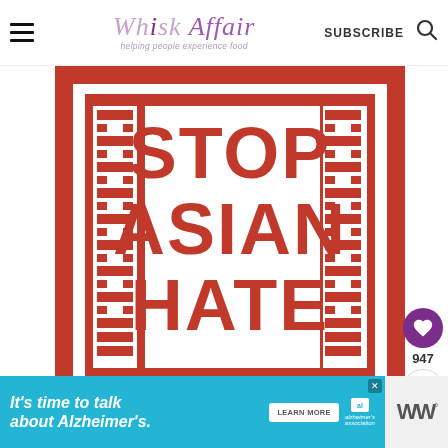Whisk Affair — helping people experience food — SUBSCRIBE
[Figure (illustration): Stop Asian Hate graphic — bold red text on white background reading STOP ASIAN HATE with decorative red border featuring Asian-inspired geometric fret pattern]
947
WHAT'S NEXT → Thai Green Papaya Sala...
[Figure (photo): Circular thumbnail of Thai Green Papaya Salad]
It's time to talk about Alzheimer's.
LEARN MORE
[Figure (logo): Alzheimer's association logo with al box icon]